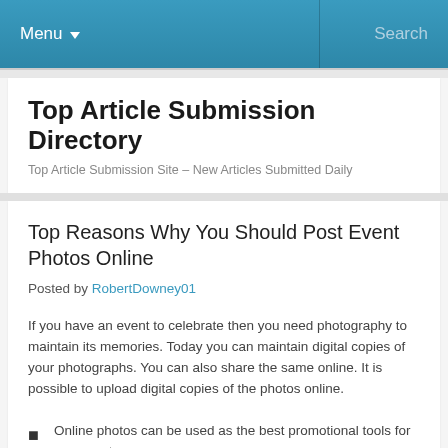Menu  Search
Top Article Submission Directory
Top Article Submission Site – New Articles Submitted Daily
Top Reasons Why You Should Post Event Photos Online
Posted by RobertDowney01
If you have an event to celebrate then you need photography to maintain its memories. Today you can maintain digital copies of your photographs. You can also share the same online. It is possible to upload digital copies of the photos online.
Online photos can be used as the best promotional tools for any event